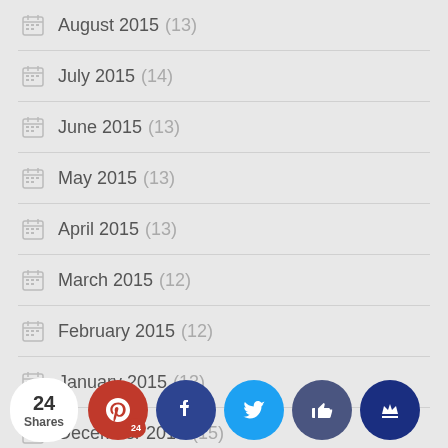August 2015 (13)
July 2015 (14)
June 2015 (13)
May 2015 (13)
April 2015 (13)
March 2015 (12)
February 2015 (12)
January 2015 (13)
December 2014 (15)
November 2014 (11)